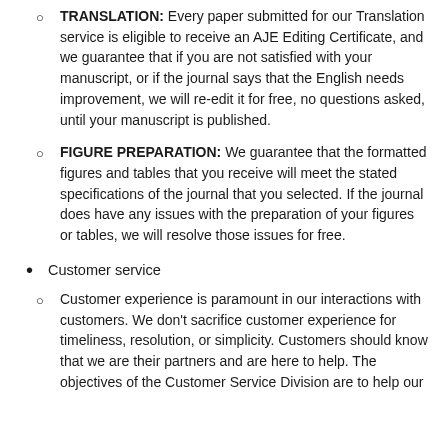TRANSLATION: Every paper submitted for our Translation service is eligible to receive an AJE Editing Certificate, and we guarantee that if you are not satisfied with your manuscript, or if the journal says that the English needs improvement, we will re-edit it for free, no questions asked, until your manuscript is published.
FIGURE PREPARATION: We guarantee that the formatted figures and tables that you receive will meet the stated specifications of the journal that you selected. If the journal does have any issues with the preparation of your figures or tables, we will resolve those issues for free.
Customer service
Customer experience is paramount in our interactions with customers. We don't sacrifice customer experience for timeliness, resolution, or simplicity. Customers should know that we are their partners and are here to help. The objectives of the Customer Service Division are to help our